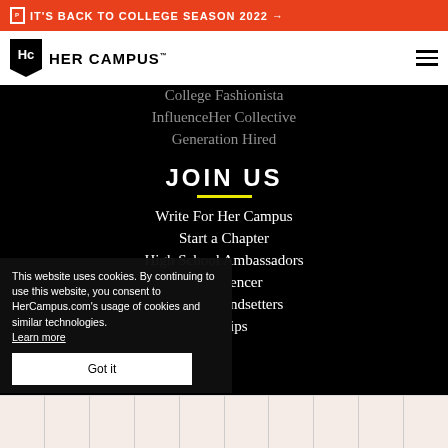IT'S BACK TO COLLEGE SEASON 2022 →
[Figure (logo): Her Campus logo with HC monogram in a pennant-style black box and HER CAMPUS text]
College Fashionista
InfluenceHer Collective
Generation Hired
JOIN US
Write For Her Campus
Start a Chapter
High School Ambassadors
encer
ndsetters
ips
This website uses cookies. By continuing to use this website, you consent to HerCampus.com's usage of cookies and similar technologies. Learn more
Got it